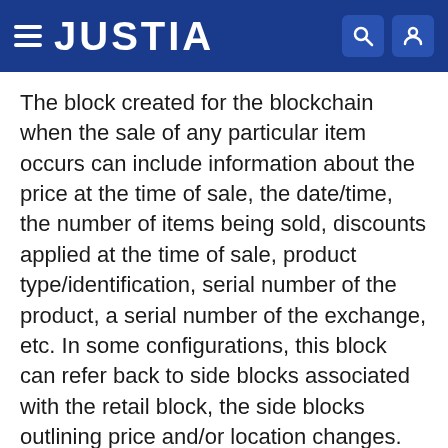JUSTIA
The block created for the blockchain when the sale of any particular item occurs can include information about the price at the time of sale, the date/time, the number of items being sold, discounts applied at the time of sale, product type/identification, serial number of the product, a serial number of the exchange, etc. In some configurations, this block can refer back to side blocks associated with the retail block, the side blocks outlining price and/or location changes.
The sale block can also contain information about the customer making the purchase. Alternatively, an additional block can be generated when the customer information is provided. The customer information can include name, contact information (e.g., address, phone number, email address, etc.), driver's license number,